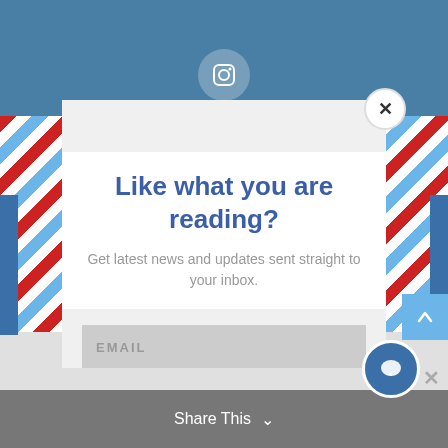[Figure (screenshot): Instagram social media banner with icon and bold label on blue background]
[Figure (infographic): Email subscription popup modal with airmail-style border, title 'Like what you are reading?', subtitle, email input field, and yellow Subscribe button. Includes close X button and footer 'Share This' bar.]